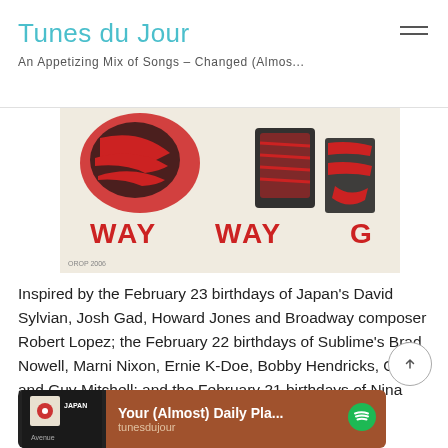Tunes du Jour
An Appetizing Mix of Songs - Changed (Almos...
[Figure (illustration): Stylized red and black graphic artwork showing abstract shapes with text reading 'WAY' on a cream background, resembling a concert or album poster]
Inspired by the February 23 birthdays of Japan's David Sylvian, Josh Gad, Howard Jones and Broadway composer Robert Lopez; the February 22 birthdays of Sublime's Brad Nowell, Marni Nixon, Ernie K-Doe, Bobby Hendricks, Oliver and Guy Mitchell; and the February 21 birthdays of Nina Simone, Mary Chapin Carpenter and Manic Street Preachers' James Dean Bradfield.
[Figure (screenshot): Spotify banner with orange-brown background showing 'Your (Almost) Daily Pla...' and 'tunesdujour' text with Spotify logo icon, alongside a small album thumbnail on dark background]